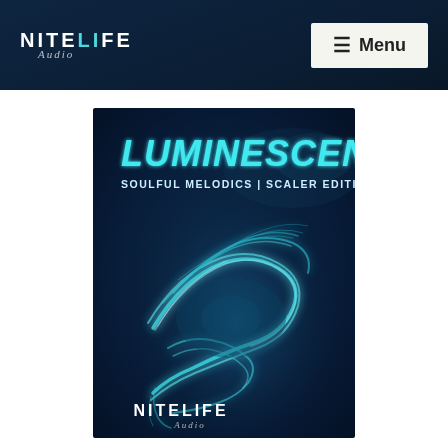NITELIFE — Menu navigation header
[Figure (illustration): Album cover artwork for 'Luminescence – Soulful Melodics | Scaler Edition' by Nitelife Audio. Dark blue background with glowing cyan/blue flowing light streaks forming a bird-like shape. Title 'LUMINESCENCE' in large italic teal letters at top, subtitle 'SOULFUL MELODICS | SCALER EDITION' below in white, Nitelife Audio logo at bottom.]